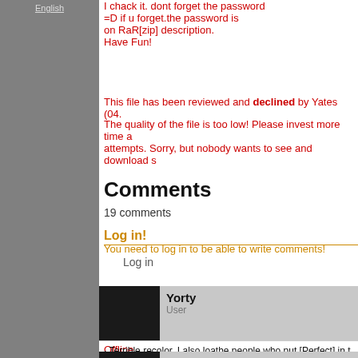English
I chack it. dont forget the password
=D if u forget.the password is
on RaR[zip] description.
Have Fun!
This file has been reviewed and declined by Yates (04.
The quality of the file is too low! Please invest more time a
attempts. Sorry, but nobody wants to see and download s
Comments
19 comments
Log in!
You need to log in to be able to write comments!
Log in
Yorty
User
Offline
· Terrible recolor. I also loathe people who put [Perfect] in t